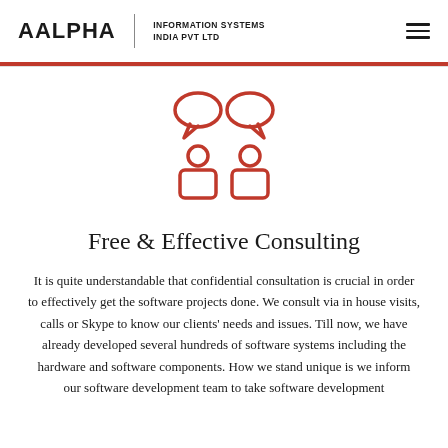AALPHA | INFORMATION SYSTEMS INDIA PVT LTD
[Figure (illustration): Two people with speech bubbles above them, rendered as red outline icons, representing consultation or communication.]
Free & Effective Consulting
It is quite understandable that confidential consultation is crucial in order to effectively get the software projects done. We consult via in house visits, calls or Skype to know our clients' needs and issues. Till now, we have already developed several hundreds of software systems including the hardware and software components. How we stand unique is we inform our software development team to take software development